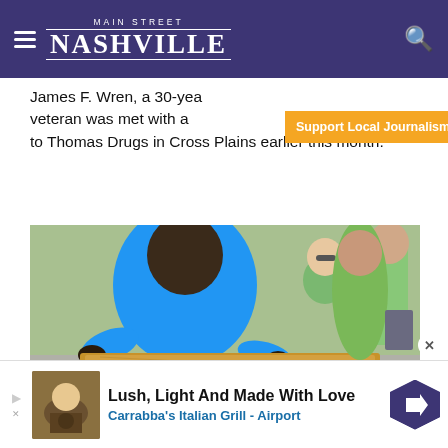MAIN STREET NASHVILLE
James F. Wren, a 30-year veteran was met with a [Support Local Journalism] [Subscribe] to Thomas Drugs in Cross Plains earlier this month.
[Figure (photo): People carrying a large plywood board outdoors in a parking lot. A person in a blue t-shirt is in the foreground, and others in green t-shirts are visible in the background on a sunny day.]
Lush, Light And Made With Love
Carrabba's Italian Grill - Airport